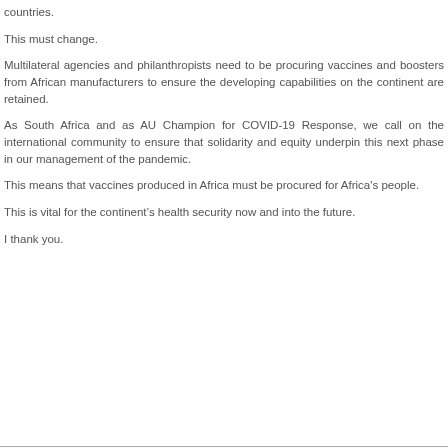countries.
This must change.
Multilateral agencies and philanthropists need to be procuring vaccines and boosters from African manufacturers to ensure the developing capabilities on the continent are retained.
As South Africa and as AU Champion for COVID-19 Response, we call on the international community to ensure that solidarity and equity underpin this next phase in our management of the pandemic.
This means that vaccines produced in Africa must be procured for Africa's people.
This is vital for the continent's health security now and into the future.
I thank you.